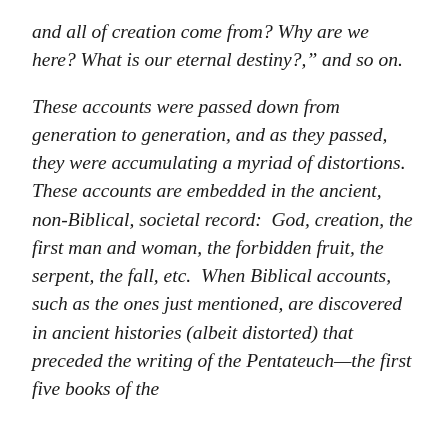and all of creation come from? Why are we here? What is our eternal destiny?," and so on.

These accounts were passed down from generation to generation, and as they passed, they were accumulating a myriad of distortions.  These accounts are embedded in the ancient, non-Biblical, societal record:  God, creation, the first man and woman, the forbidden fruit, the serpent, the fall, etc.  When Biblical accounts, such as the ones just mentioned, are discovered in ancient histories (albeit distorted) that preceded the writing of the Pentateuch—the first five books of the Bible, the...